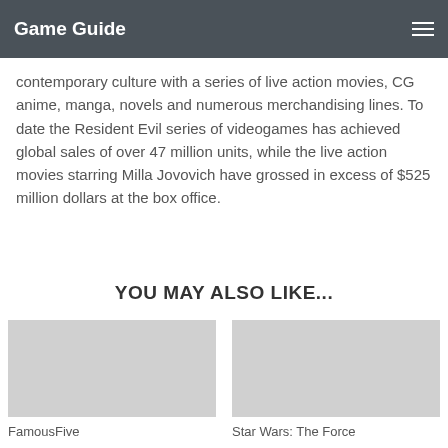Game Guide
contemporary culture with a series of live action movies, CG anime, manga, novels and numerous merchandising lines. To date the Resident Evil series of videogames has achieved global sales of over 47 million units, while the live action movies starring Milla Jovovich have grossed in excess of $525 million dollars at the box office.
YOU MAY ALSO LIKE...
[Figure (photo): Placeholder image for FamousFive article thumbnail]
FamousFive
[Figure (photo): Placeholder image for Star Wars: The Force article thumbnail]
Star Wars: The Force